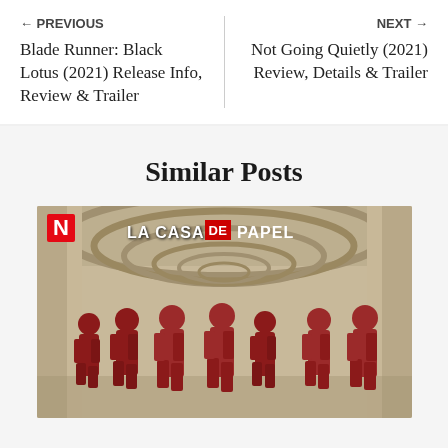← PREVIOUS
Blade Runner: Black Lotus (2021) Release Info, Review & Trailer
NEXT →
Not Going Quietly (2021) Review, Details & Trailer
Similar Posts
[Figure (photo): La Casa de Papel (Money Heist) Netflix promotional image showing characters in red jumpsuits and masks walking in a corridor]